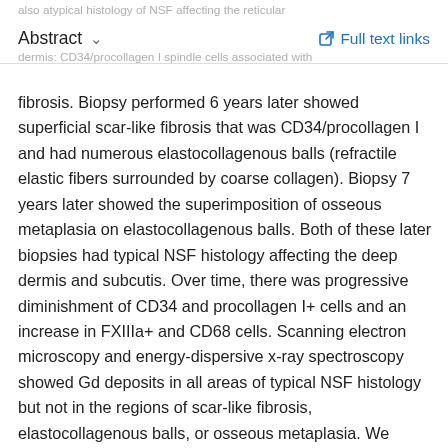Abstract  ∨   Full text links
fibrosis. Biopsy performed 6 years later showed superficial scar-like fibrosis that was CD34/procollagen I and had numerous elastocollagenous balls (refractile elastic fibers surrounded by coarse collagen). Biopsy 7 years later showed the superimposition of osseous metaplasia on elastocollagenous balls. Both of these later biopsies had typical NSF histology affecting the deep dermis and subcutis. Over time, there was progressive diminishment of CD34 and procollagen I+ cells and an increase in FXIIIa+ and CD68 cells. Scanning electron microscopy and energy-dispersive x-ray spectroscopy showed Gd deposits in all areas of typical NSF histology but not in the regions of scar-like fibrosis, elastocollagenous balls, or osseous metaplasia. We suspect that the later changes may represent a late, involuting stage of NSF.